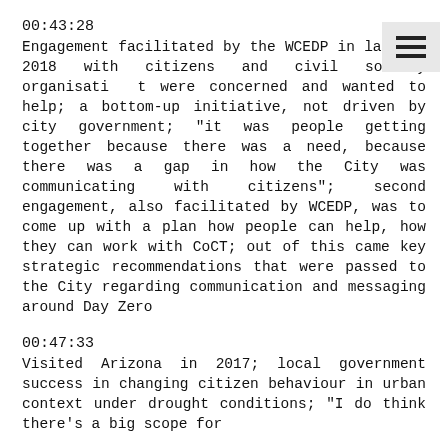00:43:28
Engagement facilitated by the WCEDP in late y 2018 with citizens and civil society organisati t were concerned and wanted to help; a bottom-up initiative, not driven by city government; "it was people getting together because there was a need, because there was a gap in how the City was communicating with citizens"; second engagement, also facilitated by WCEDP, was to come up with a plan how people can help, how they can work with CoCT; out of this came key strategic recommendations that were passed to the City regarding communication and messaging around Day Zero
00:47:33
Visited Arizona in 2017; local government success in changing citizen behaviour in urban context under drought conditions; "I do think there's a big scope for